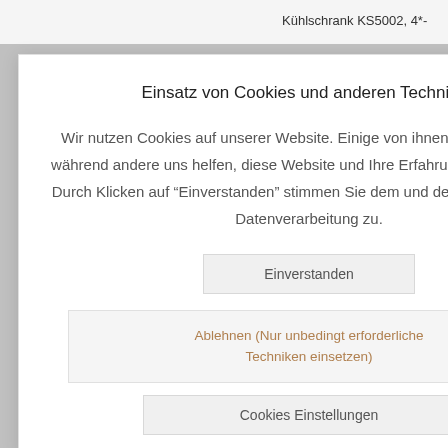479,00 €
Kühlschrank KS5002, 4*-
Einsatz von Cookies und anderen Techniken
Wir nutzen Cookies auf unserer Website. Einige von ihnen sind notwendig, während andere uns helfen, diese Website und Ihre Erfahrung zu verbessern. Durch Klicken auf "Einverstanden" stimmen Sie dem und der entsprechenden Datenverarbeitung zu.
Einverstanden
Ablehnen (Nur unbedingt erforderliche Techniken einsetzen)
Cookies Einstellungen
[Figure (photo): Partial view of a silver/stainless steel microwave oven with digital display and buttons on the right side]
COMBI 101 – 20l –